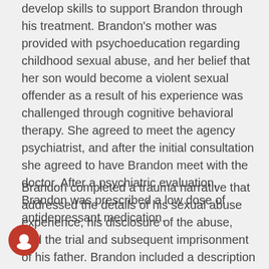develop skills to support Brandon through his treatment. Brandon's mother was provided with psychoeducation regarding childhood sexual abuse, and her belief that her son would become a violent sexual offender as a result of his experience was challenged through cognitive behavioral therapy. She agreed to meet the agency psychiatrist, and after the initial consultation she agreed to have Brandon meet with the doctor. After a psychiatric evaluation, Brandon was prescribed a low dose of antidepressant medication.
Brandon completed a trauma narrative that addressed the details of his sexual abuse experience, his disclosure of the abuse, and the trial and subsequent imprisonment of his father. Brandon included a description of his feelings at each point in his narrative, as well as what he learned in treatment about childhood sexual abuse and coping skills to deal with uncomfortable feelings and impulsivity. Brandon shared his trauma narrative with his mother, who